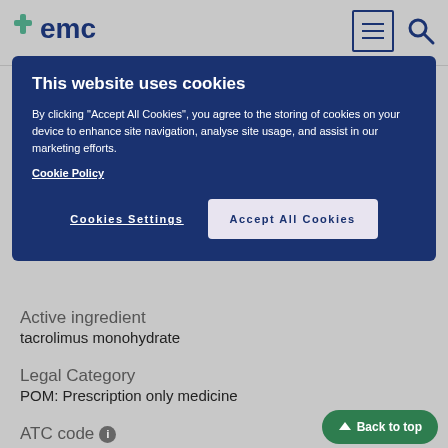emc
This website uses cookies
By clicking "Accept All Cookies", you agree to the storing of cookies on your device to enhance site navigation, analyse site usage, and assist in our marketing efforts.
Cookie Policy
Cookies Settings
Accept All Cookies
Active ingredient
tacrolimus monohydrate
Legal Category
POM: Prescription only medicine
ATC code
L04AD02
Find similar products
Back to top